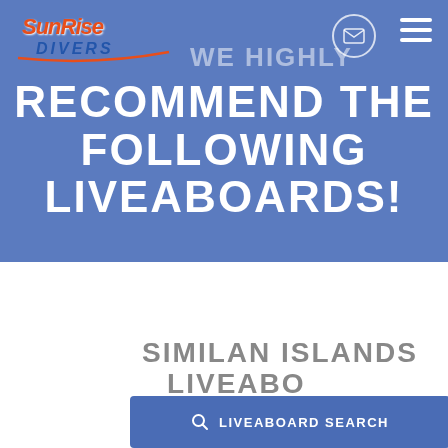[Figure (logo): SunRise Divers logo with stylized script text in red/orange with 'DIVERS' in blue]
WE HIGHLY RECOMMEND THE FOLLOWING LIVEABOARDS!
SIMILAN ISLANDS LIVEABOARDS (THAILAND)
[Figure (other): reCAPTCHA badge with Privacy and Terms links]
LIVEABOARD SEARCH